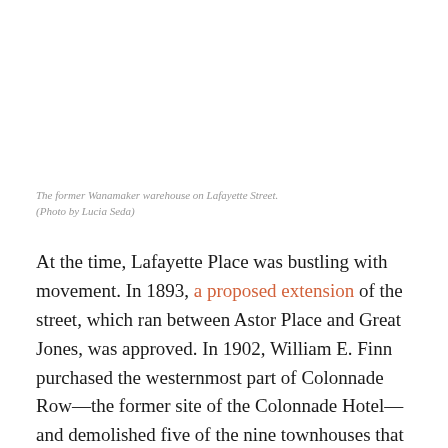The former Wanamaker warehouse on Lafayette Street. (Photo by Lucia Seda)
At the time, Lafayette Place was bustling with movement. In 1893, a proposed extension of the street, which ran between Astor Place and Great Jones, was approved. In 1902, William E. Finn purchased the westernmost part of Colonnade Row—the former site of the Colonnade Hotel—and demolished five of the nine townhouses that Geer had built. Two years later, John Wanamaker paid a million dollars (roughly $26 million in today's dollars) for the plot of land and in 1906 declared his intention to build a three-story arcade with 14 stores and 60